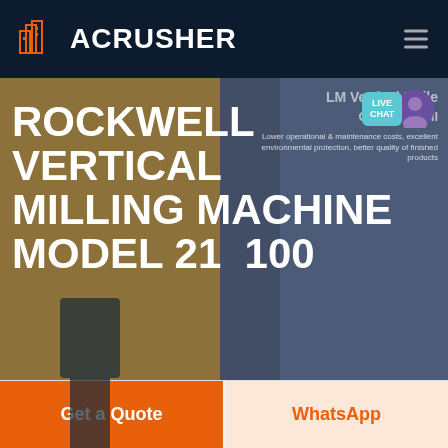ACRUSHER
ROCKWELL VERTICAL MILLING MACHINE MODEL 21 100
LM Vertical Roller Grinding Mill
Lower operational & maintenance costs, excellent environmental protection, better quality of finished products
LIVE CHAT
HOME / PRODUCTS
Get a Quote
WhatsApp